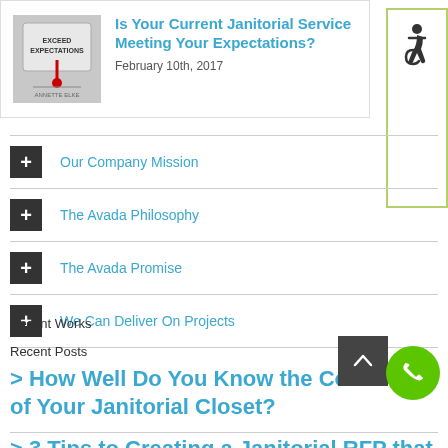[Figure (photo): Thumbnail image with text 'EXCEED EXPECTATIONS' and a gauge/thermometer graphic]
Is Your Current Janitorial Service Meeting Your Expectations?
February 10th, 2017
[Figure (illustration): Accessibility wheelchair icon in green-bordered box]
Our Company Mission
The Avada Philosophy
The Avada Promise
We Can Deliver On Projects
Recent Works
Recent Posts
> How Well Do You Know the Contents of Your Janitorial Closet?
> 3 Tips to Creating a Janitorial RFP that